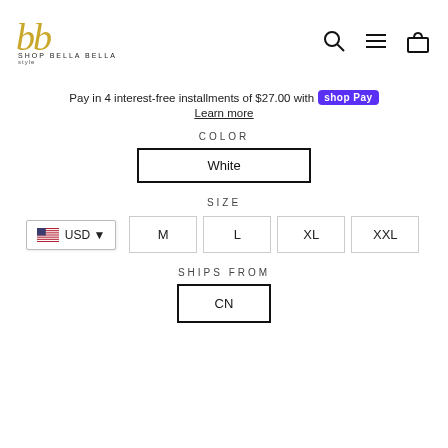[Figure (logo): Shop Bella Bella Style logo with gold cursive letters and text]
[Figure (infographic): Navigation icons: search, hamburger menu, shopping bag]
Pay in 4 interest-free installments of $27.00 with shop Pay
Learn more
COLOR
White
SIZE
USD
M
L
XL
XXL
SHIPS FROM
CN